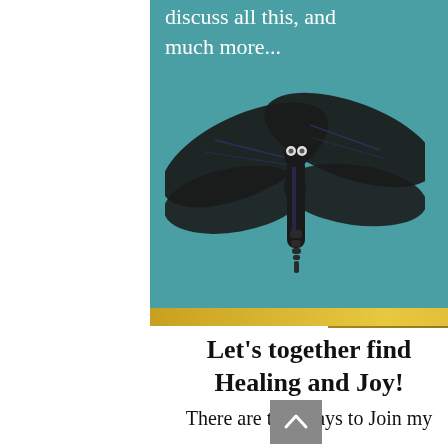discuss all this, and much more...
[Figure (illustration): Black dragonfly illustration on teal background]
Let’s together find Healing and Joy!
There are two ways to Join my Online LIVE monthly gatherings.